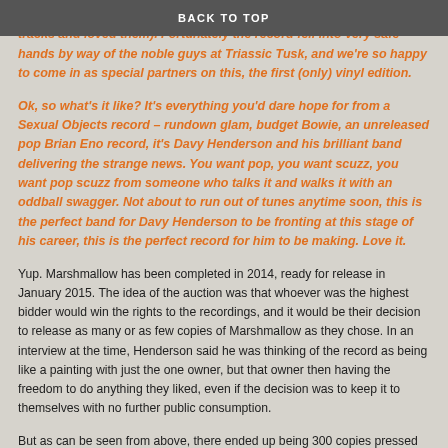BACK TO TOP
we'd ever get to hear the record (some of us had heard a handful of tracks and loved them). Fortunately the record fell into very safe hands by way of the noble guys at Triassic Tusk, and we're so happy to come in as special partners on this, the first (only) vinyl edition.
Ok, so what's it like? It's everything you'd dare hope for from a Sexual Objects record – rundown glam, budget Bowie, an unreleased pop Brian Eno record, it's Davy Henderson and his brilliant band delivering the strange news. You want pop, you want scuzz, you want pop scuzz from someone who talks it and walks it with an oddball swagger. Not about to run out of tunes anytime soon, this is the perfect band for Davy Henderson to be fronting at this stage of his career, this is the perfect record for him to be making. Love it.
Yup. Marshmallow has been completed in 2014, ready for release in January 2015. The idea of the auction was that whoever was the highest bidder would win the rights to the recordings, and it would be their decision to release as many or as few copies of Marshmallow as they chose. In an interview at the time, Henderson said he was thinking of the record as being like a painting with just the one owner, but that owner then having the freedom to do anything they liked, even if the decision was to keep it to themselves with no further public consumption.
But as can be seen from above, there ended up being 300 copies pressed up, on sale for £20 each. I missed out on it, for the simple fact that I wasn't paying attention. I'd like a copy and just now there is one via Discogs for £55 which is actually well below what it normally goes for, but I've decided not to bother as I